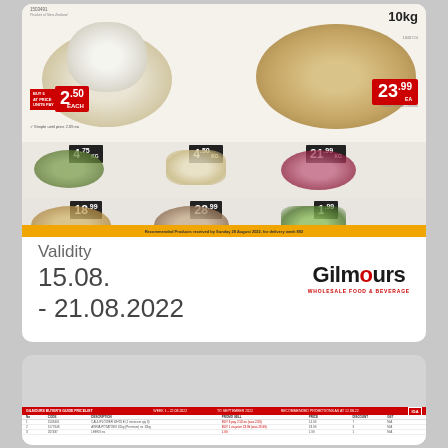[Figure (illustration): Gilmours wholesale grocery flyer showing vegetables: cauliflower, potatoes 10kg, cabbage, peeled garlic 1kg, red onions 1kg, gourmet white washed potatoes 10kg, market mix mushrooms 3kg, leeks. Prices shown: 2.50, 23.99, 4.75, 4.50, 21.99, 18.99, 28.99, 1.99]
Validity
15.08. - 21.08.2022
[Figure (logo): Gilmours logo with red 'o' and tagline WHOLESALE FOOD & BEVERAGE]
[Figure (table-as-image): Small data table with red header row and product listing rows, partially visible]